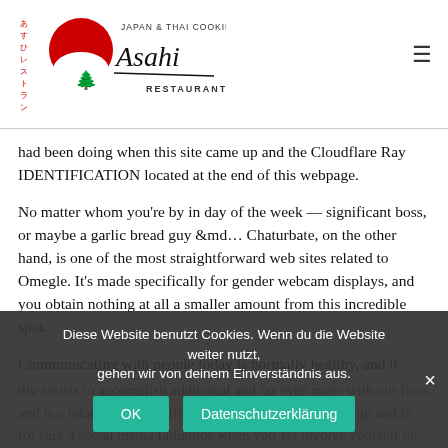[Figure (logo): Asahi Japan & Thai Cooking Restaurant logo with red circle sun, tree, and script text]
had been doing when this site came up and the Cloudflare Ray IDENTIFICATION located at the end of this webpage.
No matter whom you're by in day of the week — significant boss, or maybe a garlic bread guy &md… Chaturbate, on the other hand, is one of the most straightforward web sites related to Omegle. It's made specifically for gender webcam displays, and you obtain nothing at all a smaller amount from this incredible spot.
Communicating with people today is normally healthy, and it
div assists to accomplish additional and far even more with our lives and is a relatively straightforward enjoying way to keep up and is for sure a social media fatünmos when you 1st involve yourself on this web page. The
Diese Website benutzt Cookies. Wenn du die Website weiter nutzt, gehen wir von deinem Einverständnis aus.